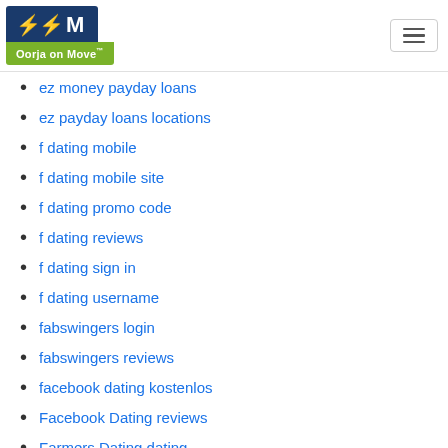Oorja on Move
ez money payday loans
ez payday loans locations
f dating mobile
f dating mobile site
f dating promo code
f dating reviews
f dating sign in
f dating username
fabswingers login
fabswingers reviews
facebook dating kostenlos
Facebook Dating reviews
Farmers Dating dating
farmersonly review
fast auto payday loans
Fast Cash Advances Payday Loans